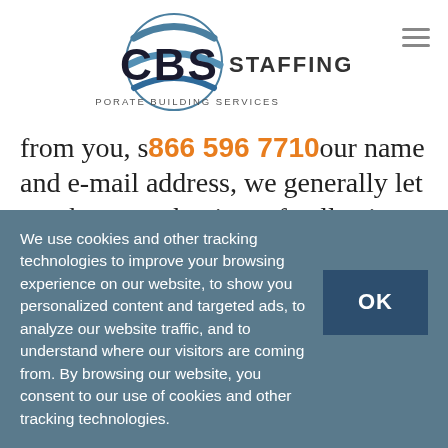[Figure (logo): CBS Staffing logo with blue swoosh graphic, bold CBS letters, STAFFING text, and tagline CORPORATE BUILDING SERVICES]
from you, s​​866 596 7710​​our name and e-mail address, we generally let you know at the time of collection how we will use the personal information. Usually, we use the personal information you provide only to
We use cookies and other tracking technologies to improve your browsing experience on our website, to show you personalized content and targeted ads, to analyze our website traffic, and to understand where our visitors are coming from. By browsing our website, you consent to our use of cookies and other tracking technologies.